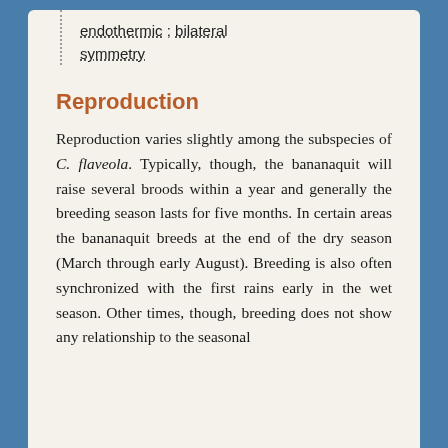endothermic ; bilateral symmetry
Reproduction
Reproduction varies slightly among the subspecies of C. flaveola. Typically, though, the bananaquit will raise several broods within a year and generally the breeding season lasts for five months. In certain areas the bananaquit breeds at the end of the dry season (March through early August). Breeding is also often synchronized with the first rains early in the wet season. Other times, though, breeding does not show any relationship to the seasonal